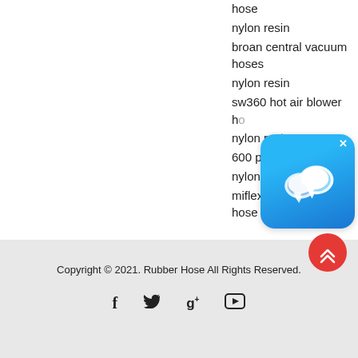hose
nylon resin
broan central vacuum hoses
nylon resin
sw360 hot air blower h[ose]
nylon res[in]
600 psi hose
nylon resin
miflex low pressure hose
[Figure (screenshot): Blue chat bubble app icon popup with white X close button overlay]
Copyright © 2021. Rubber Hose All Rights Reserved.
[Figure (infographic): Red circular scroll-to-top button with double chevron up arrow]
Social media icons: Facebook (f), Twitter (bird), Google+ (g+), YouTube (play button)